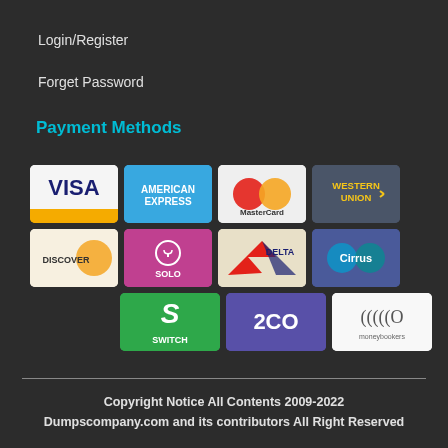Login/Register
Forget Password
Payment Methods
[Figure (infographic): Grid of payment method logos: VISA, American Express, MasterCard, Western Union, Discover, Solo, Delta, Cirrus, Switch, 2CO, Moneybookers]
Copyright Notice All Contents 2009-2022 Dumpscompany.com and its contributors All Right Reserved